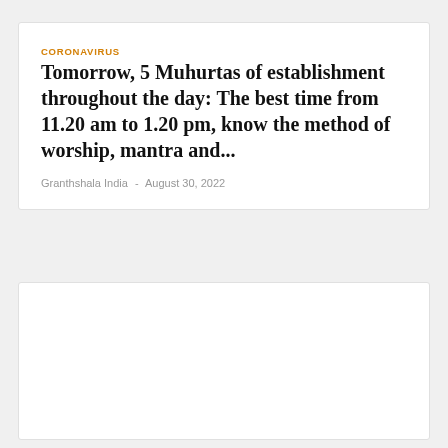CORONAVIRUS
Tomorrow, 5 Muhurtas of establishment throughout the day: The best time from 11.20 am to 1.20 pm, know the method of worship, mantra and...
Granthshala India  -  August 30, 2022